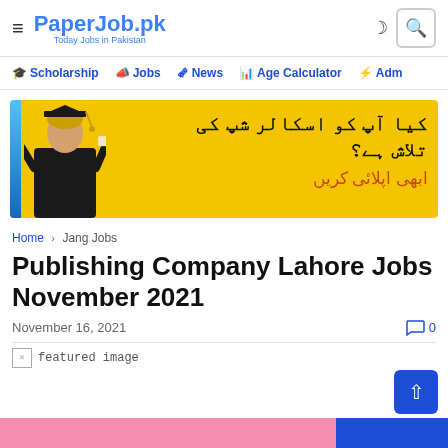PaperJob.pk — Today Jobs in Pakistan
Scholarship  Jobs  News  Age Calculator  Adm
[Figure (illustration): Advertisement banner with yellow background showing a person in graduation gown and cap holding a diploma, with Urdu text reading 'کیا آپ کو اسکالر شپ کی تلاش ہے؟ ابھی اپلائی کریں']
Home › Jang Jobs
Publishing Company Lahore Jobs November 2021
November 16, 2021  0
[Figure (photo): Featured image placeholder (broken image icon)]